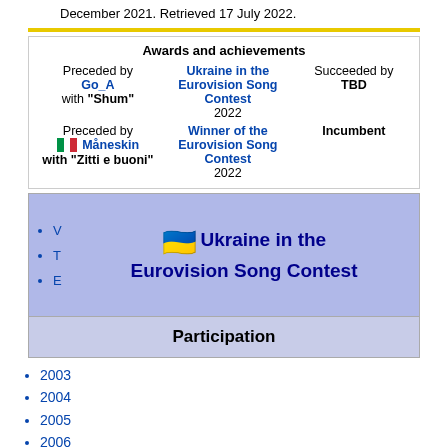December 2021. Retrieved 17 July 2022.
| Preceded by | Awards and achievements | Succeeded by |
| --- | --- | --- |
| Preceded by
Go_A
with "Shum" | Ukraine in the Eurovision Song Contest
2022 | Succeeded by
TBD |
| Preceded by
🇮🇹 Måneskin
with "Zitti e buoni" | Winner of the Eurovision Song Contest
2022 | Incumbent |
[Figure (other): Ukraine in the Eurovision Song Contest navigation box with V, T, E links and Ukrainian flag emoji, header section in periwinkle blue]
Participation
2003
2004
2005
2006
2007
2008
2009